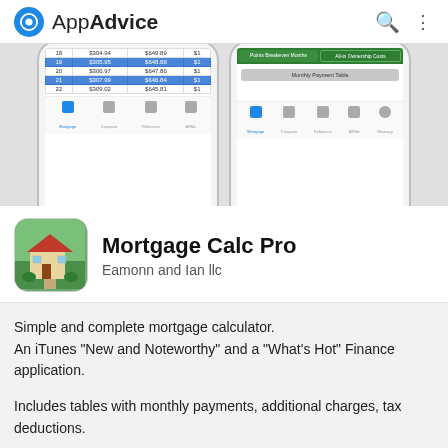AppAdvice
[Figure (screenshot): Two iPhone screens showing Mortgage Calc Pro app with payment tables and navigation bar]
Mortgage Calc Pro
Eamonn and Ian llc
Simple and complete mortgage calculator.
An iTunes "New and Noteworthy" and a "What's Hot" Finance application.
Includes tables with monthly payments, additional charges, tax deductions.